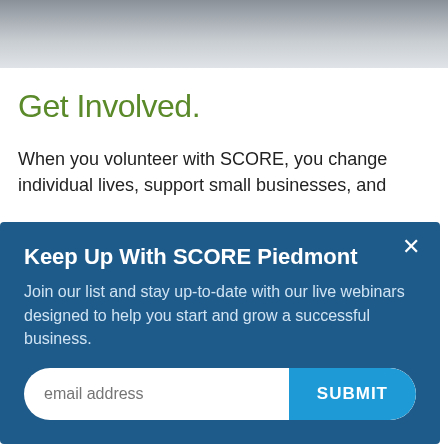[Figure (photo): Photo strip at top of page showing people in a meeting or business setting]
Get Involved.
When you volunteer with SCORE, you change individual lives, support small businesses, and
[Figure (screenshot): Modal popup overlay with dark blue background titled 'Keep Up With SCORE Piedmont' containing email signup form with SUBMIT button]
Learn What You Need to Know.
We recently spoke with our clients to fully